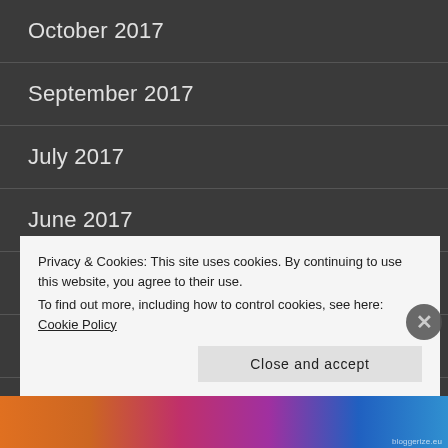October 2017
September 2017
July 2017
June 2017
May 2017
April 2017
March 2017
Privacy & Cookies: This site uses cookies. By continuing to use this website, you agree to their use.
To find out more, including how to control cookies, see here: Cookie Policy
Close and accept